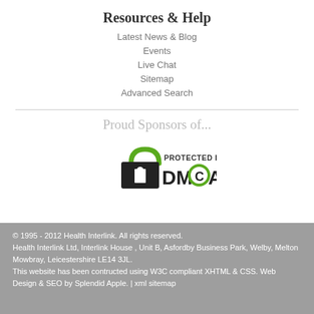Resources & Help
Latest News & Blog
Events
Live Chat
Sitemap
Advanced Search
Proud Sponsors of...
[Figure (logo): DMCA Protected By badge - lock icon with DMCA text in black and green]
© 1995 - 2012 Health Interlink. All rights reserved.
Health Interlink Ltd, Interlink House , Unit B, Asfordby Business Park, Welby, Melton Mowbray, Leicestershire LE14 3JL.
This website has been contructed using W3C compliant XHTML & CSS. Web Design & SEO by Splendid Apple. | xml sitemap